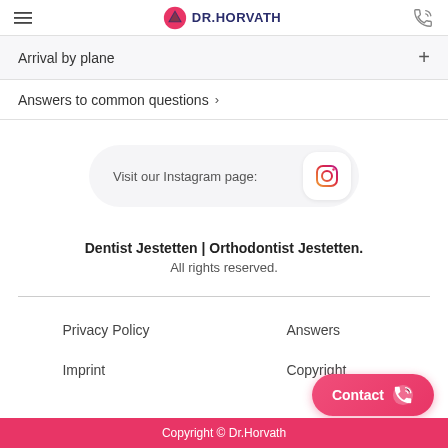DR.HORVATH
Arrival by plane
Answers to common questions
[Figure (other): Visit our Instagram page button with Instagram icon]
Dentist Jestetten | Orthodontist Jestetten.
All rights reserved.
Privacy Policy
Answers
Imprint
Copyright
Copyright © Dr.Horvath